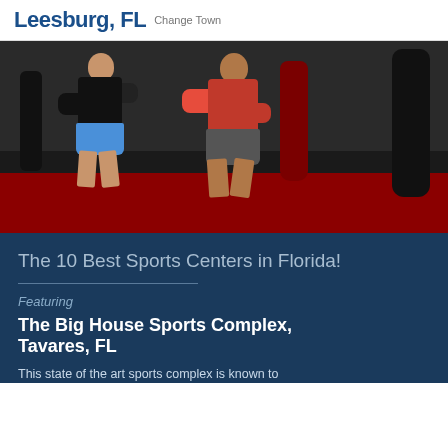Leesburg, FL Change Town
[Figure (photo): Two men boxing/sparring in a gym with heavy bags in the background, one wearing black and blue, the other red and grey, on a red floor.]
The 10 Best Sports Centers in Florida!
Featuring
The Big House Sports Complex, Tavares, FL
This state of the art sports complex is known to